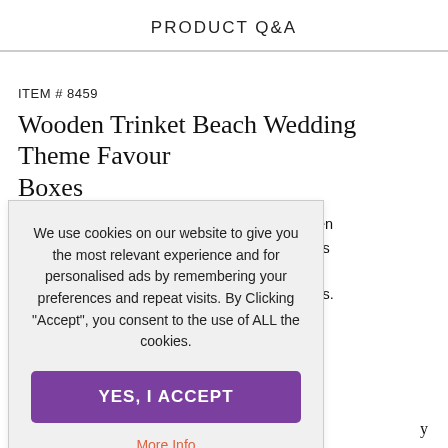PRODUCT Q&A
ITEM # 8459
Wooden Trinket Beach Wedding Theme Favour Boxes
...wedding with these wooden ...nd seashells. Fill with candies ...a favour tag or ribbon (sold ...take home gift for your guests.
...of 12
[Figure (screenshot): Cookie consent dialog overlay with text: 'We use cookies on our website to give you the most relevant experience and for personalised ads by remembering your preferences and repeat visits. By Clicking "Accept", you consent to the use of ALL the cookies.' with a purple 'YES, I ACCEPT' button and a 'More Info' link.]
y